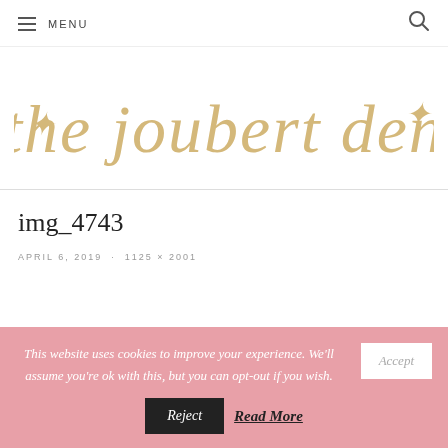MENU
[Figure (logo): The Joubert Den blog logo in gold italic script font]
img_4743
APRIL 6, 2019 · 1125 × 2001
This website uses cookies to improve your experience. We'll assume you're ok with this, but you can opt-out if you wish. Accept Reject Read More